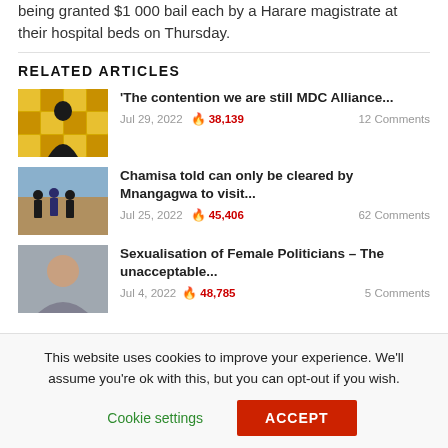being granted $1 000 bail each by a Harare magistrate at their hospital beds on Thursday.
RELATED ARTICLES
[Figure (photo): Thumbnail image for MDC Alliance article, yellow patterned background with a woman speaking]
'The contention we are still MDC Alliance... Jul 29, 2022 🔥 38,139 12 Comments
[Figure (photo): Thumbnail image for Chamisa article, men walking outdoors]
Chamisa told can only be cleared by Mnangagwa to visit... Jul 25, 2022 🔥 45,406 62 Comments
[Figure (photo): Thumbnail image for Sexualisation article, woman portrait]
Sexualisation of Female Politicians – The unacceptable... Jul 4, 2022 🔥 48,785 5 Comments
This website uses cookies to improve your experience. We'll assume you're ok with this, but you can opt-out if you wish.